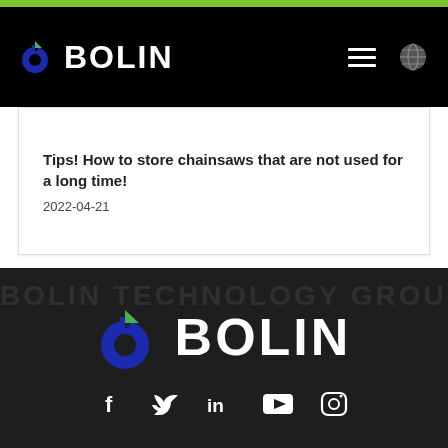BOLIN
Tips! How to store chainsaws that are not used for a long time!
2022-04-21
[Figure (logo): BOLIN logo with social media icons (Facebook, Twitter, LinkedIn, YouTube, Instagram) on dark background footer]